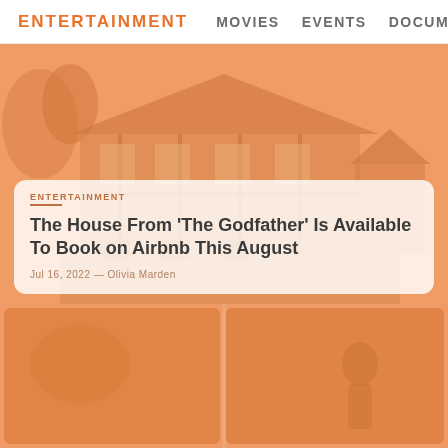ENTERTAINMENT   MOVIES   EVENTS   DOCUMENTAR
[Figure (photo): Hero image of a large suburban house with Tudor-style architecture, outdoor patio/pool area, overlaid with orange tint]
ENTERTAINMENT
The House From 'The Godfather' Is Available To Book on Airbnb This August
Jul 16, 2022 — Olivia Marden
[Figure (photo): Two thumbnail images at bottom of page with orange tint overlay, right image appears to show a person or figure]